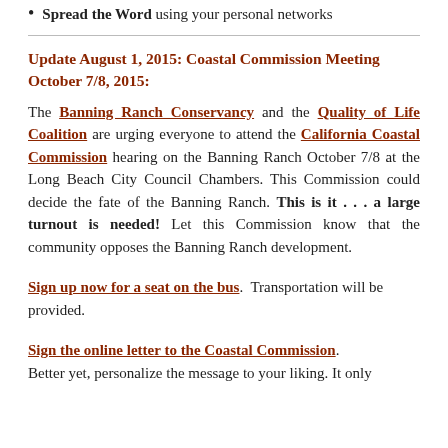Spread the Word using your personal networks
Update August 1, 2015: Coastal Commission Meeting October 7/8, 2015:
The Banning Ranch Conservancy and the Quality of Life Coalition are urging everyone to attend the California Coastal Commission hearing on the Banning Ranch October 7/8 at the Long Beach City Council Chambers. This Commission could decide the fate of the Banning Ranch. This is it . . . a large turnout is needed! Let this Commission know that the community opposes the Banning Ranch development.
Sign up now for a seat on the bus. Transportation will be provided.
Sign the online letter to the Coastal Commission. Better yet, personalize the message to your liking. It only